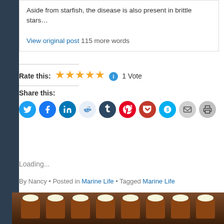Aside from starfish, the disease is also present in brittle stars…
View original post 115 more words
Rate this: ★★★★★ ℹ 1 Vote
Share this:
[Figure (infographic): Social share buttons: Twitter, Facebook, LinkedIn, Reddit, Tumblr, Pinterest, Pocket, Skype, Email, Print]
Loading...
By Nancy • Posted in Marine Life • Tagged Marine Life
[Figure (photo): Photo of chocolate cupcakes with white frosting]